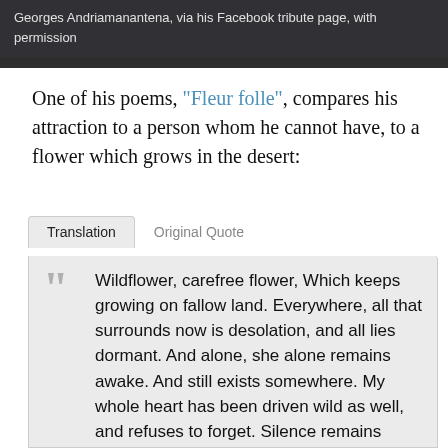[Figure (photo): Dark photo area at top of page, partially cropped, showing a person outdoors.]
Georges Andriamanantena, via his Facebook tribute page, with permission
One of his poems, “Fleur folle”, compares his attraction to a person whom he cannot have, to a flower which grows in the desert:
Translation | Original Quote (tab interface)
Wildflower, carefree flower, Which keeps growing on fallow land. Everywhere, all that surrounds now is desolation, and all lies dormant. And alone, she alone remains awake. And still exists somewhere. My whole heart has been driven wild as well, and refuses to forget. Silence remains around the one whom I love, but I continue to believe. I keep this in memory, and I will always remember my lost love, in whom I have always